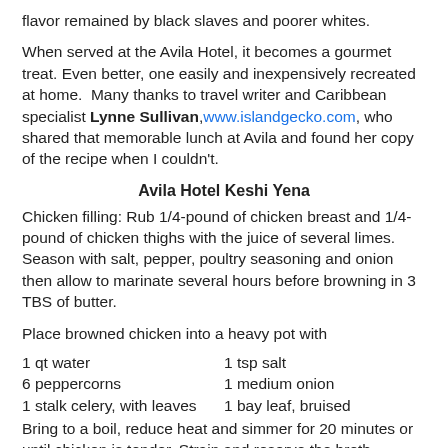flavor remained by black slaves and poorer whites.
When served at the Avila Hotel, it becomes a gourmet treat. Even better, one easily and inexpensively recreated at home.  Many thanks to travel writer and Caribbean specialist Lynne Sullivan, www.islandgecko.com, who shared that memorable lunch at Avila and found her copy of the recipe when I couldn't.
Avila Hotel Keshi Yena
Chicken filling: Rub 1/4-pound of chicken breast and 1/4-pound of chicken thighs with the juice of several limes. Season with salt, pepper, poultry seasoning and onion then allow to marinate several hours before browning in 3 TBS of butter.
Place browned chicken into a heavy pot with
1 qt water	1 tsp salt
6 peppercorns	1 medium onion
1 stalk celery, with leaves	1 bay leaf, bruised
Bring to a boil, reduce heat and simmer for 20 minutes or until chicken is tender. Strain and reserve the broth. Discard